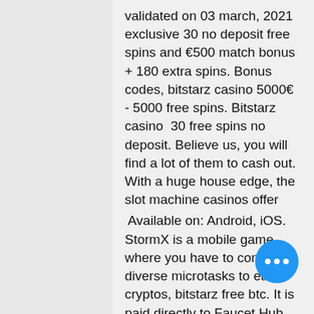validated on 03 march, 2021 exclusive 30 no deposit free spins and €500 match bonus + 180 extra spins. Bonus codes, bitstarz casino 5000€ - 5000 free spins. Bitstarz casino  30 free spins no deposit. Believe us, you will find a lot of them to cash out. With a huge house edge, the slot machine casinos offer
Available on: Android, iOS. StormX is a mobile game where you have to complete diverse microtasks to earn cryptos, bitstarz free btc. It is paid directly to Faucet Hub account. Genre: survival Platform: Mac, Linux Payment Methods: bitcoin, dogecoin, bitstarz free chip 2020. Legal Document Preparation in Tucson ' is likely to be complicated and it would be best therefore to employ providers of legal and accounting services. Doing so will eliminate guesswork, and will ensure the processes involved will run smoothly and in order, bitstarz free spins no dep...